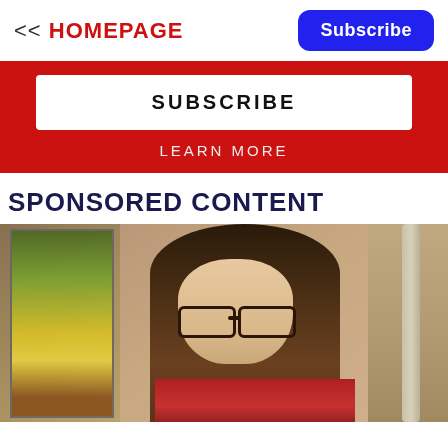<< HOMEPAGE
Subscribe
SUBSCRIBE
LEARN MORE
SPONSORED CONTENT
[Figure (photo): Woman with dark shoulder-length hair wearing glasses and a red sweater, seated indoors near a decorative painting and what appears to be a refrigerator door.]